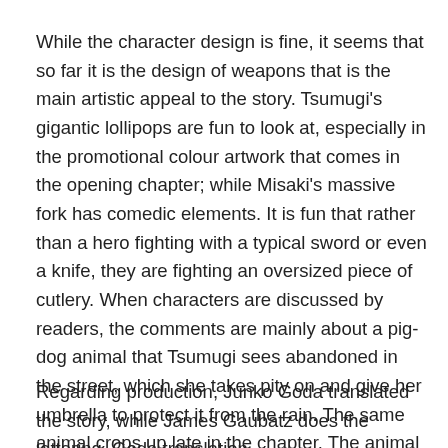While the character design is fine, it seems that so far it is the design of weapons that is the main artistic appeal to the story. Tsumugi's gigantic lollipops are fun to look at, especially in the promotional colour artwork that comes in the opening chapter; while Misaki's massive fork has comedic elements. It is fun that rather than a hero fighting with a typical sword or even a knife, they are fighting an oversized piece of cutlery. When characters are discussed by readers, the comments are mainly about a pig-dog animal that Tsumugi sees abandoned in the street, which she takes pity on and give her umbrella to protect it from the rain. The same animal crops up late in the chapter. The animal already has fans.
Regarding production, Junko Goda translated the story, while James Gaubatz does the lettering. Goda translation